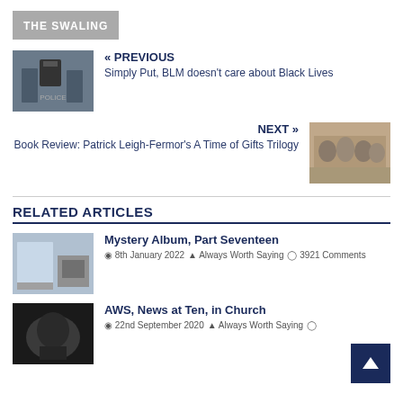THE SWALING
« PREVIOUS
Simply Put, BLM doesn't care about Black Lives
NEXT »
Book Review: Patrick Leigh-Fermor's A Time of Gifts Trilogy
RELATED ARTICLES
Mystery Album, Part Seventeen
8th January 2022  Always Worth Saying  3921 Comments
AWS, News at Ten, in Church
22nd September 2020  Always Worth Saying